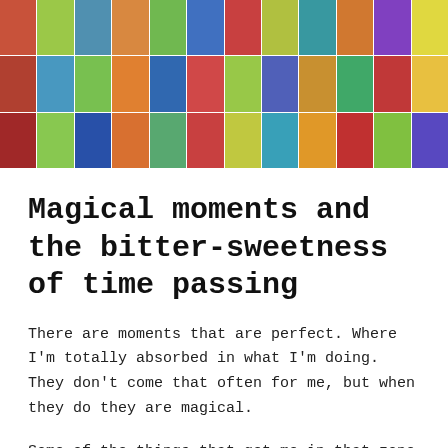[Figure (photo): A colorful collage/mosaic of multiple small photos arranged in a grid banner at the top of the page, showing various colorful images including art, crafts, nature, and people.]
Magical moments and the bitter-sweetness of time passing
There are moments that are perfect. Where I'm totally absorbed in what I'm doing. They don't come that often for me, but when they do they are magical.
Some of the things that get me in that zone are:
Making art or craft